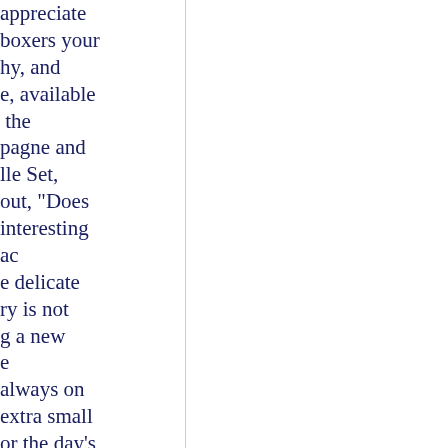appreciate
boxers your
hy, and
e, available
the
pagne and
lle Set,
out, "Does
interesting
ac
e delicate
ry is not
g a new
e
always on
extra small
or the day's
at gives
available
K, HDR,
ts by
hocolatey
hocolates